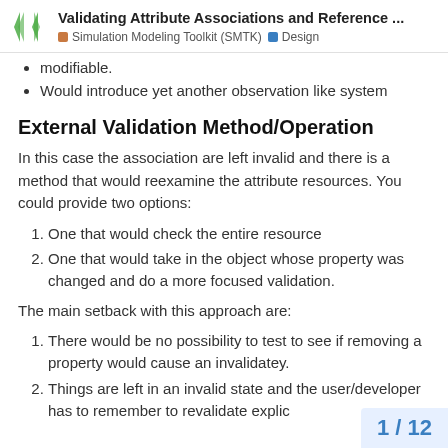Validating Attribute Associations and Reference ... | Simulation Modeling Toolkit (SMTK) | Design
modifiable.
Would introduce yet another observation like system
External Validation Method/Operation
In this case the association are left invalid and there is a method that would reexamine the attribute resources. You could provide two options:
One that would check the entire resource
One that would take in the object whose property was changed and do a more focused validation.
The main setback with this approach are:
There would be no possibility to test to see if removing a property would cause an invalidatey.
Things are left in an invalid state and the user/developer has to remember to revalidate explic
1 / 12